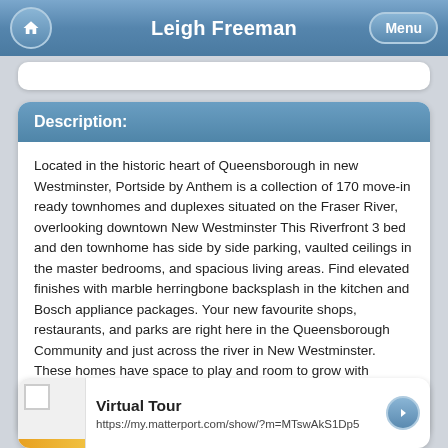Leigh Freeman
Description:
Located in the historic heart of Queensborough in new Westminster, Portside by Anthem is a collection of 170 move-in ready townhomes and duplexes situated on the Fraser River, overlooking downtown New Westminster This Riverfront 3 bed and den townhome has side by side parking, vaulted ceilings in the master bedrooms, and spacious living areas. Find elevated finishes with marble herringbone backsplash in the kitchen and Bosch appliance packages. Your new favourite shops, restaurants, and parks are right here in the Queensborough Community and just across the river in New Westminster. These homes have space to play and room to grow with spacious floor plans and outdoor entertainment areas. Call the Presentation Centre to book a private showing.
Virtual Tour
https://my.matterport.com/show/?m=MTswAkS1Dp5